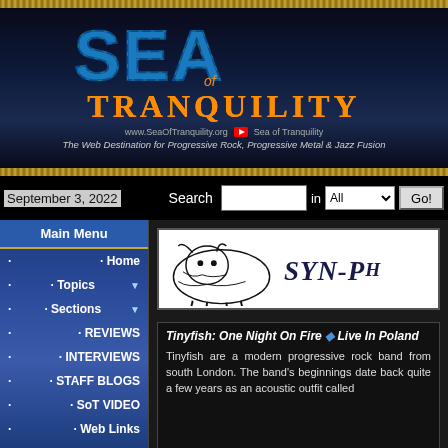[Figure (logo): Sea of Tranquility website header with large stylized SEA text in blue/teal with green patterns, TRANQUILITY in orange/gold gradient, website URL www.SeaOfTranquility.org, YouTube icon, tagline: The Web Destination for Progressive Rock, Progressive Metal & Jazz Fusion]
September 3, 2022
Search  in  All  Go!
Main Menu
Home
Topics
Sections
REVIEWS
INTERVIEWS
STAFF BLOGS
SoT VIDEO
Web Links
Submit News
[Figure (logo): SYN-PH band logo with illustrated bison/bull creature graphic on left and SYN-PH text in gothic style on white background]
Tinyfish: One Night On Fire ◆ Live In Poland
Tinyfish are a modern progressive rock band from south London. The band's beginnings date back quite a few years as an acoustic outfit called